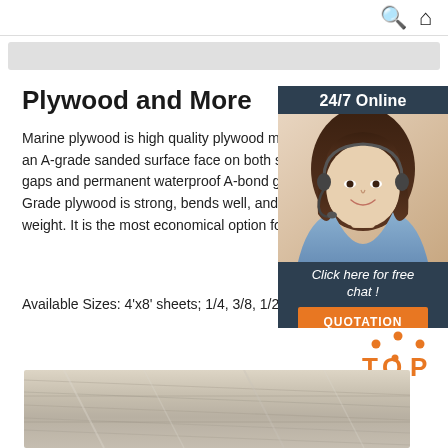🔍 🏠
Plywood and More
Marine plywood is high quality plywood manu an A-grade sanded surface face on both sides w gaps and permanent waterproof A-bond glue. Grade plywood is strong, bends well, and is of weight. It is the most economical option for ma
Available Sizes: 4'x8' sheets; 1/4, 3/8, 1/2, 5/8,
Get Price
[Figure (photo): Chat widget with woman wearing headset, 24/7 Online header, Click here for free chat text, and QUOTATION orange button]
[Figure (photo): Plywood sheets photo showing wood grain texture, with TOP badge in orange]